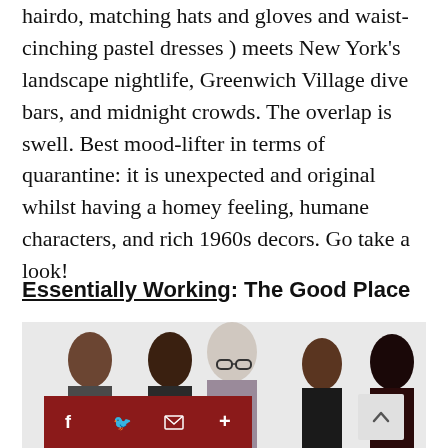hairdo, matching hats and gloves and waist-cinching pastel dresses ) meets New York's landscape nightlife, Greenwich Village dive bars, and midnight crowds. The overlap is swell. Best mood-lifter in terms of quarantine: it is unexpected and original whilst having a homey feeling, humane characters, and rich 1960s decors. Go take a look!
Essentially Working: The Good Place
[Figure (photo): Cast photo of The Good Place TV show, showing several cast members posed together against a light background. A social media sharing bar (Facebook, Twitter, Email, Plus) is overlaid at bottom left, and a scroll-up button at bottom right.]